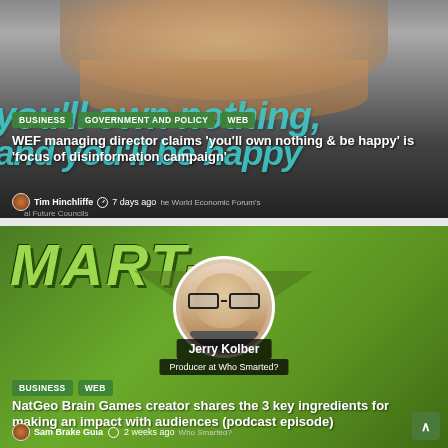[Figure (screenshot): Top article card: dark background with man smiling, teal italic text 'you'll own nothing, and you'll be happy' overlaid. Tags: BUSINESS, GOVERNMENT AND POLICY, WEB. Article title: WEF managing director claims 'you'll own nothing & be happy' is 'focus of disinformation campaign'. Byline: Tim Hinchliffe, 7 days ago.]
[Figure (screenshot): Bottom article card: green background with stylized 'MART-' text, circular headshot of man with glasses labeled Jerry Kolber, Producer at Who Smarted? Tags: BUSINESS, WEB. Article title: NatGeo Brain Games creator shares the 3 key ingredients for making an impact with audiences (podcast episode). Byline: Sam Brake Guia, 2 weeks ago.]